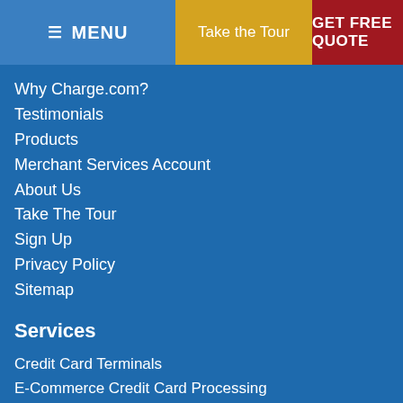≡ MENU | Take the Tour | GET FREE QUOTE
Why Charge.com?
Testimonials
Products
Merchant Services Account
About Us
Take The Tour
Sign Up
Privacy Policy
Sitemap
Services
Credit Card Terminals
E-Commerce Credit Card Processing
Mobile Credit Card Processing
Applying for a Merchant Account
High-Risk ACH and eCheck Processing